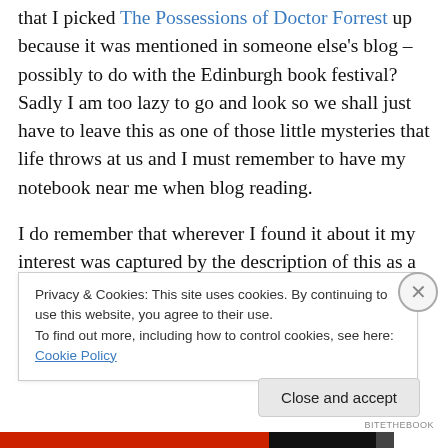that I picked The Possessions of Doctor Forrest up because it was mentioned in someone else's blog – possibly to do with the Edinburgh book festival? Sadly I am too lazy to go and look so we shall just have to leave this as one of those little mysteries that life throws at us and I must remember to have my notebook near me when blog reading.
I do remember that wherever I found it about it my interest was captured by the description of this as a Gothic novel; in fact, the quote from David Peace on the front
Privacy & Cookies: This site uses cookies. By continuing to use this website, you agree to their use.
To find out more, including how to control cookies, see here: Cookie Policy